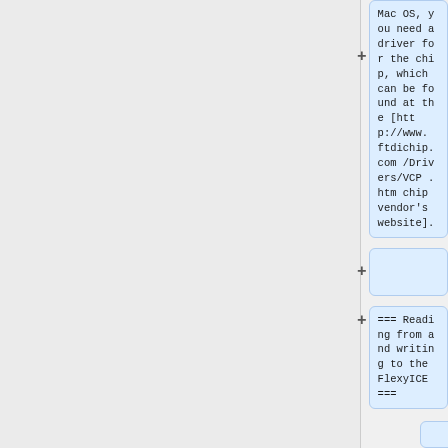Mac OS, you need a driver for the chip, which can be found at the [http://www.ftdichip.com/Drivers/VCP.htm chip vendor's website].
=== Reading from and writing to the FlexyICE ===